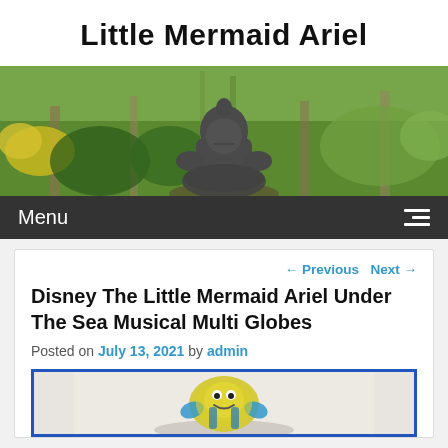Little Mermaid Ariel
[Figure (photo): Buddha statue in a garden with green trees and plants in the background, serving as a website hero/banner image.]
Menu
← Previous   Next →
Disney The Little Mermaid Ariel Under The Sea Musical Multi Globes
Posted on July 13, 2021 by admin
[Figure (photo): A Disney Little Mermaid Ariel musical multi globe toy/figurine (partially visible), appearing to show Flounder character on a decorative base.]